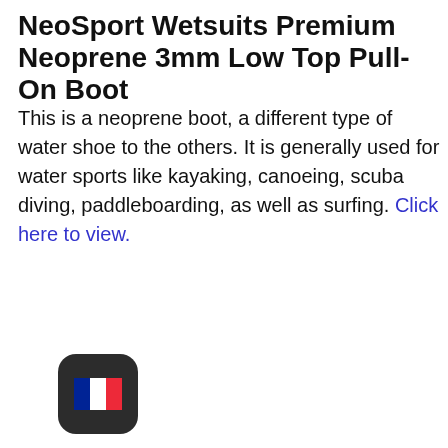NeoSport Wetsuits Premium Neoprene 3mm Low Top Pull-On Boot
This is a neoprene boot, a different type of water shoe to the others. It is generally used for water sports like kayaking, canoeing, scuba diving, paddleboarding, as well as surfing. Click here to view.
[Figure (illustration): French flag icon in a dark rounded square badge, bottom left area of page]